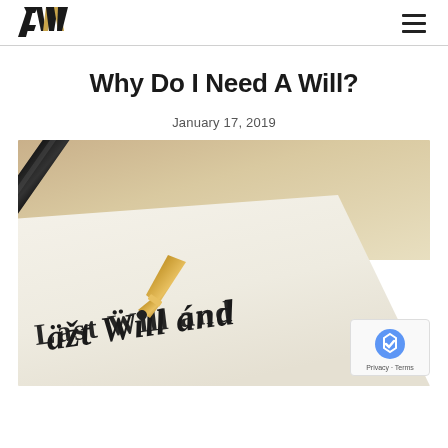AW [logo] | hamburger menu
Why Do I Need A Will?
January 17, 2019
[Figure (photo): Close-up photo of a gold-tipped pen resting on a document with old English Gothic script reading 'Last Will and Testament'. Background is beige/tan paper.]